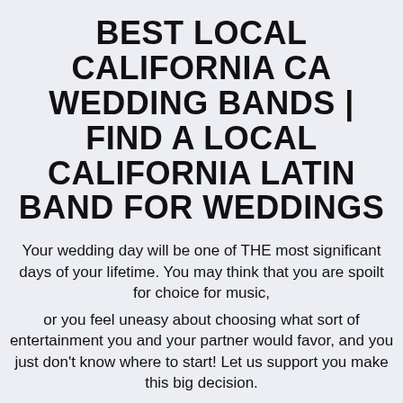BEST LOCAL CALIFORNIA CA WEDDING BANDS | FIND A LOCAL CALIFORNIA LATIN BAND FOR WEDDINGS
Your wedding day will be one of THE most significant days of your lifetime. You may think that you are spoilt for choice for music,
or you feel uneasy about choosing what sort of entertainment you and your partner would favor, and you just don't know where to start! Let us support you make this big decision.
Our helpful and trained client advisors are skilled at leading you through the selection process and allowing you to pick the right live music for your taste and budget,
us adding something really special to your wedding day. With your